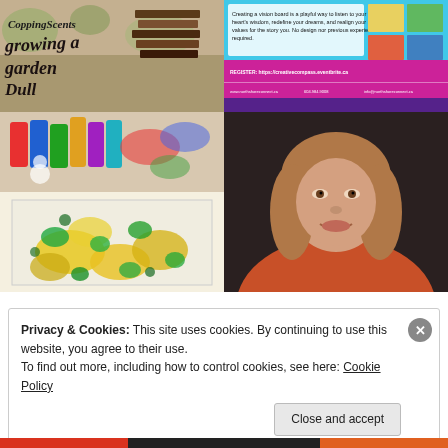[Figure (photo): Top-left: Art journal / handwritten text image showing 'growing a garden' style lettering on mixed media background]
[Figure (photo): Top-right: Event flyer for creative compass workshop with cyan/magenta colors, registration URL creativecompass.eventbrite.ca, website northshoreconnect.ca]
[Figure (photo): Mid-left: Photo of paint tubes and art supplies at top, watercolor painting with yellow and green splashes at bottom]
[Figure (photo): Mid-right: Portrait photo of a woman with light brown wavy hair wearing an orange/coral cardigan, smiling]
Privacy & Cookies: This site uses cookies. By continuing to use this website, you agree to their use.
To find out more, including how to control cookies, see here: Cookie Policy
Close and accept